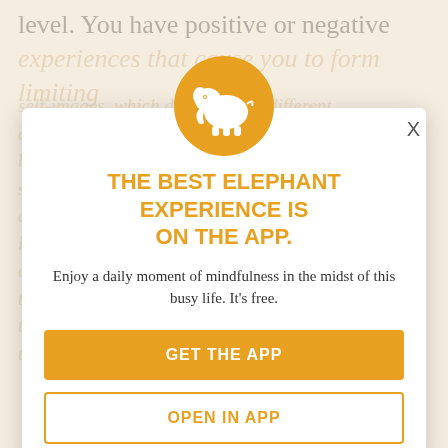level. You have positive or negative experiences that cause you to form limiting self-images, which develop from different aspects of yourself, creating a kind of blockage or form of stagnation within your system. Through the practice of Qi gong and increased mindfulness, you start feeling more present and learn to observe ourselves and thus start to notice some of these mental blockages loosen up so that we can let them go. This process of things go towards mindfulness practice, our
[Figure (logo): Elephant Journal app modal popup with orange elephant icon on gold circle, title text, subtitle text, and two buttons]
THE BEST ELEPHANT EXPERIENCE IS ON THE APP.
Enjoy a daily moment of mindfulness in the midst of this busy life. It's free.
GET THE APP
OPEN IN APP